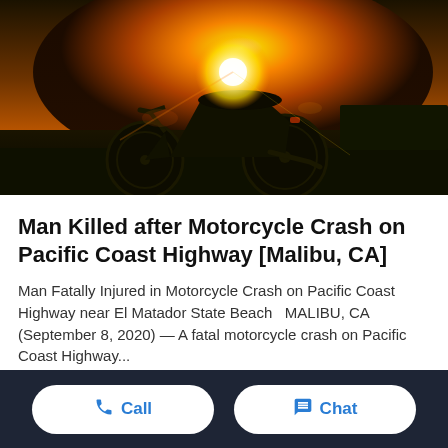[Figure (photo): A motorcycle silhouetted against a golden sunset, parked in a grassy field with the sun flaring behind it.]
Man Killed after Motorcycle Crash on Pacific Coast Highway [Malibu, CA]
Man Fatally Injured in Motorcycle Crash on Pacific Coast Highway near El Matador State Beach   MALIBU, CA (September 8, 2020) — A fatal motorcycle crash on Pacific Coast Highway...
Call   Chat